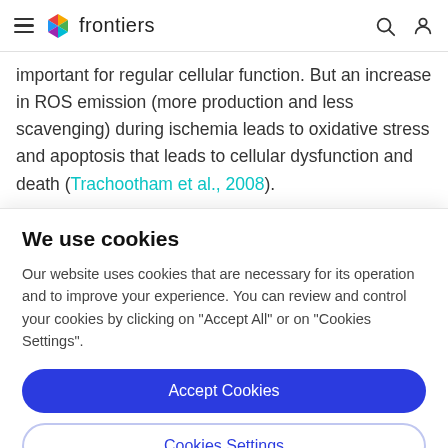frontiers
important for regular cellular function. But an increase in ROS emission (more production and less scavenging) during ischemia leads to oxidative stress and apoptosis that leads to cellular dysfunction and death (Trachootham et al., 2008).
We use cookies
Our website uses cookies that are necessary for its operation and to improve your experience. You can review and control your cookies by clicking on "Accept All" or on "Cookies Settings".
Accept Cookies
Cookies Settings